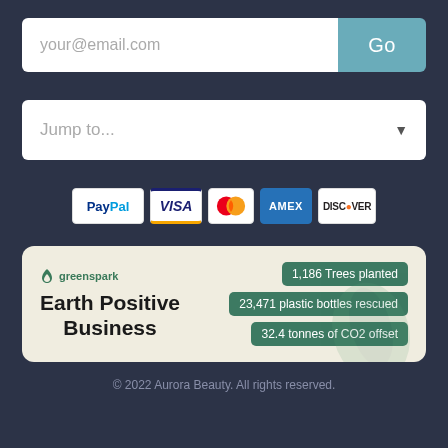[Figure (screenshot): Email input field with placeholder 'your@email.com' and a teal 'Go' button]
[Figure (screenshot): Dropdown selector with 'Jump to...' placeholder text and arrow]
[Figure (logo): Payment method icons: PayPal, Visa, Mastercard, American Express, Discover]
[Figure (infographic): Greenspark Earth Positive Business badge showing: 1,186 Trees planted, 23,471 plastic bottles rescued, 32.4 tonnes of CO2 offset]
© 2022 Aurora Beauty.  All rights reserved.